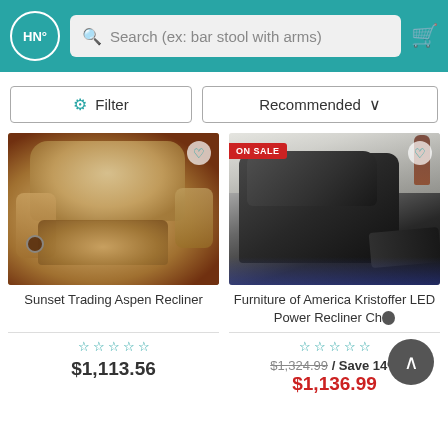HN° — Search (ex: bar stool with arms)
Filter | Recommended
[Figure (photo): Tan fabric recliner chair in a living room setting]
[Figure (photo): Black leather LED power recliner chair with blue accent lighting, ON SALE badge]
Sunset Trading Aspen Recliner
Furniture of America Kristoffer LED Power Recliner Ch...
$1,113.56
$1,324.99 / Save 14% $1,136.99